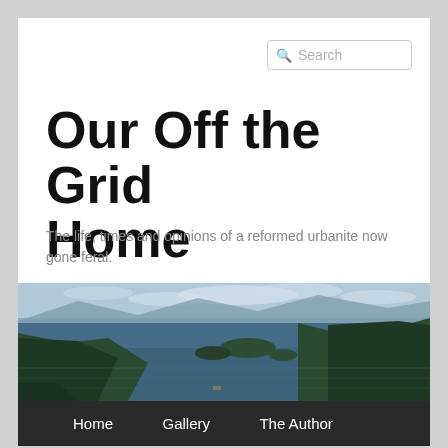Search
Our Off the Grid Home
The life, times and opinions of a reformed urbanite now gone feral.
[Figure (photo): Scenic aerial view of a forested lake or inlet with islands and mountains in the background under a partly cloudy sky]
Home   Gallery   The Author